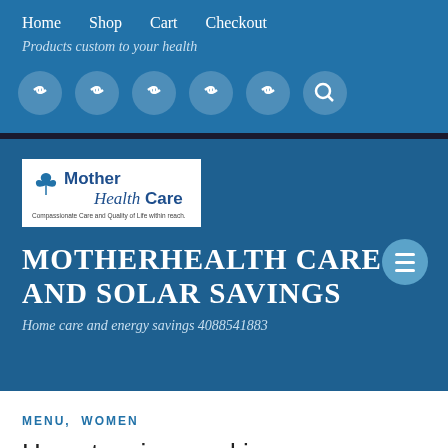Home   Shop   Cart   Checkout
Products custom to your health
[Figure (screenshot): Six circular icon buttons on blue background, including a search icon]
[Figure (logo): Mother Health Care logo - white box with bird icon, text 'Mother Health Care', slogan 'Compassionate Care and Quality of Life within reach']
MOTHERHEALTH CARE AND SOLAR SAVINGS
Home care and energy savings 4088541883
MENU, WOMEN
Hypertensive smoking women have